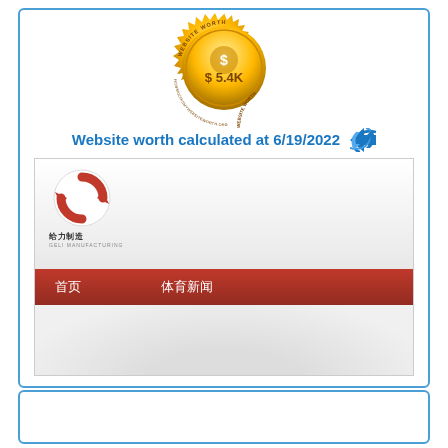[Figure (infographic): Gold medal/seal badge with dollar sign and text 'WEBSITE WORTH $5.4K']
Website worth calculated at 6/19/2022
[Figure (screenshot): Screenshot of a Chinese manufacturing website (Geli Manufacturing / SANLIAN FORGING) showing logo, red navigation bar with Chinese text '首页' and '体育新闻', and watermark '$iteprice.org']